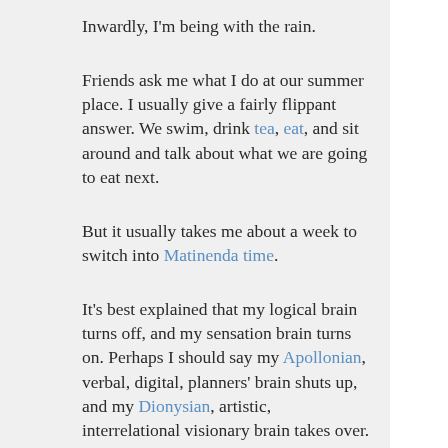Inwardly, I'm being with the rain.
Friends ask me what I do at our summer place. I usually give a fairly flippant answer. We swim, drink tea, eat, and sit around and talk about what we are going to eat next.
But it usually takes me about a week to switch into Matinenda time.
It's best explained that my logical brain turns off, and my sensation brain turns on. Perhaps I should say my Apollonian, verbal, digital, planners' brain shuts up, and my Dionysian, artistic, interrelational visionary brain takes over.